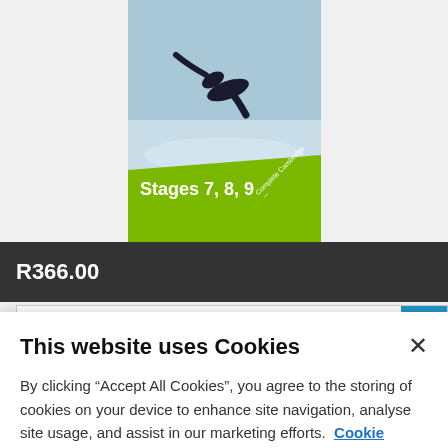[Figure (illustration): Book cover showing a swimmer diving into water with a green banner reading 'Stages 7, 8, 9' and 'Complete Cambridge' text, partially visible at top of page]
R366.00
1
Add to cart
Add to wishlist
This website uses Cookies
By clicking “Accept All Cookies”, you agree to the storing of cookies on your device to enhance site navigation, analyse site usage, and assist in our marketing efforts.  Cookie Notice